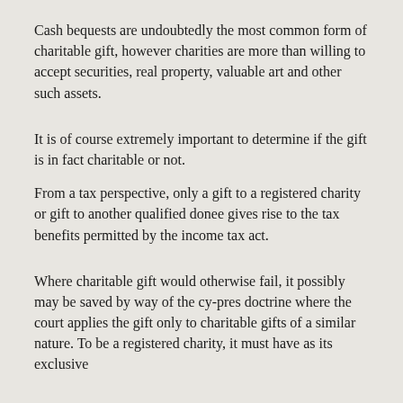Cash bequests are undoubtedly the most common form of charitable gift, however charities are more than willing to accept securities, real property, valuable art and other such assets.
It is of course extremely important to determine if the gift is in fact charitable or not.
From a tax perspective, only a gift to a registered charity or gift to another qualified donee gives rise to the tax benefits permitted by the income tax act.
Where charitable gift would otherwise fail, it possibly may be saved by way of the cy-pres doctrine where the court applies the gift only to charitable gifts of a similar nature. To be a registered charity, it must have as its exclusive